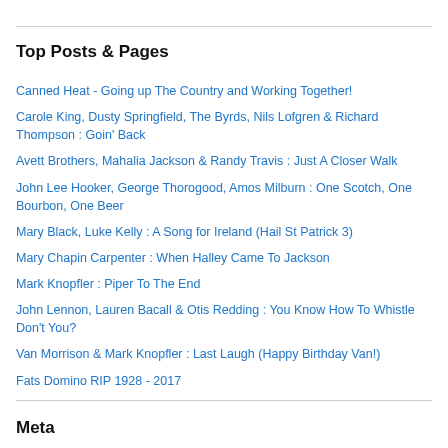Top Posts & Pages
Canned Heat - Going up The Country and Working Together!
Carole King, Dusty Springfield, The Byrds, Nils Lofgren & Richard Thompson : Goin' Back
Avett Brothers, Mahalia Jackson & Randy Travis : Just A Closer Walk
John Lee Hooker, George Thorogood, Amos Milburn : One Scotch, One Bourbon, One Beer
Mary Black, Luke Kelly : A Song for Ireland (Hail St Patrick 3)
Mary Chapin Carpenter : When Halley Came To Jackson
Mark Knopfler : Piper To The End
John Lennon, Lauren Bacall & Otis Redding : You Know How To Whistle Don't You?
Van Morrison & Mark Knopfler : Last Laugh (Happy Birthday Van!)
Fats Domino RIP 1928 - 2017
Meta